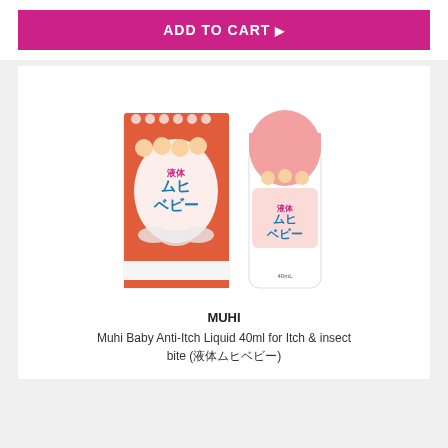ADD TO CART ▶
[Figure (photo): Muhi Baby Anti-Itch Liquid product: a tall rectangular box with orange and white design featuring Japanese characters and cartoon babies, alongside a white roll-on bottle with a pink cap labeled with the same Japanese branding.]
MUHI
Muhi Baby Anti-Itch Liquid 40ml for Itch & insect bite (液体ムヒベビー)